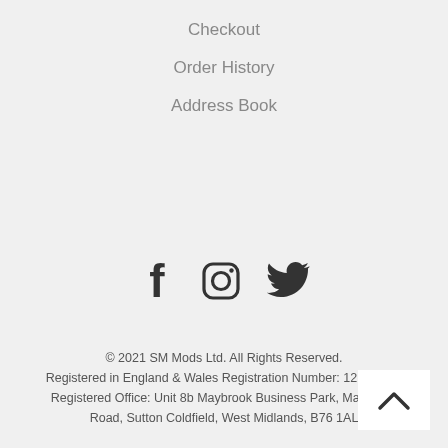Checkout
Order History
Address Book
[Figure (infographic): Social media icons: Facebook (f), Instagram (camera), Twitter (bird)]
© 2021 SM Mods Ltd. All Rights Reserved. Registered in England & Wales Registration Number: 12122723. Registered Office: Unit 8b Maybrook Business Park, Maybrook Road, Sutton Coldfield, West Midlands, B76 1AL